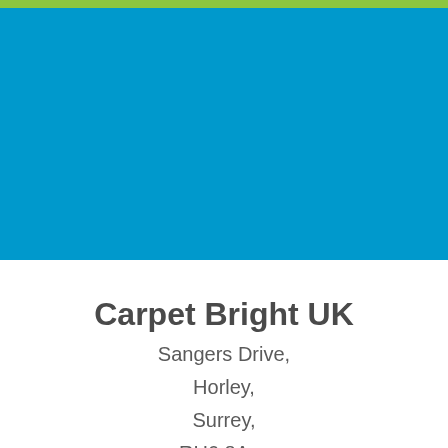[Figure (other): Green top bar accent strip]
[Figure (other): Large blue rectangular background block occupying upper half of page]
Carpet Bright UK
Sangers Drive,
Horley,
Surrey,
RH6 8A...